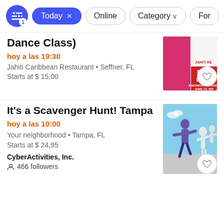[Figure (screenshot): Filter bar with a blue circular filter icon button with badge '1', a blue active pill button 'Today x', and outline pill buttons 'Online', 'Category ∨', 'For…']
Dance Class)
hoy a las 19:30
Jahiti Caribbean Restaurant • Seffner, FL
Starts at $ 15,00
[Figure (photo): Partial image of a dance event poster with text 'RUN DE SA 6 MONDAY CLASSES JUNE 13, 202 JAHITI RE' on a pink/red background]
It's a Scavenger Hunt! Tampa
hoy a las 10:00
Your neighborhood • Tampa, FL
Starts at $ 24,95
CyberActivities, Inc.
466 followers
[Figure (photo): Photo of a person in purple outfit with arms spread among white abstract human sculptures against a blue sky]